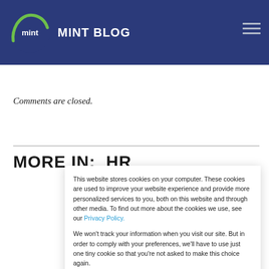MINT BLOG
Comments are closed.
MORE IN:  HR
This website stores cookies on your computer. These cookies are used to improve your website experience and provide more personalized services to you, both on this website and through other media. To find out more about the cookies we use, see our Privacy Policy.

We won't track your information when you visit our site. But in order to comply with your preferences, we'll have to use just one tiny cookie so that you're not asked to make this choice again.